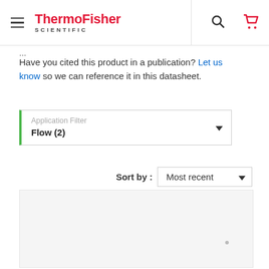ThermoFisher SCIENTIFIC
Have you cited this product in a publication? Let us know so we can reference it in this datasheet.
Application Filter
Flow (2)
Sort by : Most recent
[Figure (screenshot): Empty results panel with light gray background]